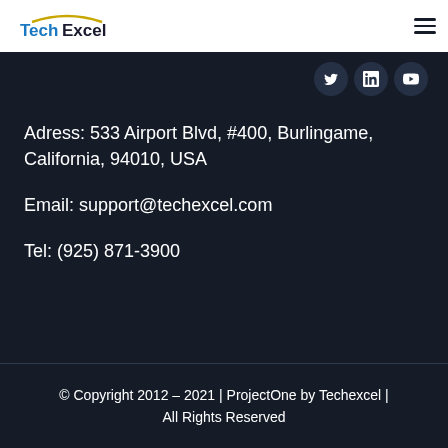TechExcel
[Figure (logo): TechExcel logo with blue text and arc accent]
Adress: 533 Airport Blvd, #400, Burlingame, California, 94010, USA
Email: support@techexcel.com
Tel: (925) 871-3900
© Copyright 2012 – 2021 | ProjectOne by Techexcel | All Rights Reserved